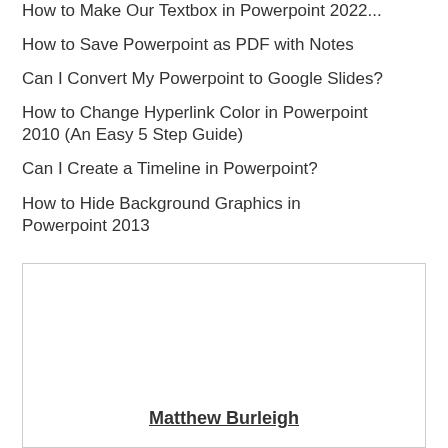How to Save Powerpoint as PDF with Notes
Can I Convert My Powerpoint to Google Slides?
How to Change Hyperlink Color in Powerpoint 2010 (An Easy 5 Step Guide)
Can I Create a Timeline in Powerpoint?
How to Hide Background Graphics in Powerpoint 2013
[Figure (other): A bordered box with author name Matthew Burleigh at the bottom]